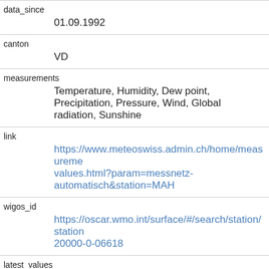| data_since | 01.09.1992 |
| canton | VD |
| measurements | Temperature, Humidity, Dew point, Precipitation, Pressure, Wind, Global radiation, Sunshine |
| link | https://www.meteoswiss.admin.ch/home/measurements-values.html?param=messnetz-automatisch&station=MAH |
| wigos_id | https://oscar.wmo.int/surface/#/search/station/station20000-0-06618 |
| latest_values | https://api.existenz.ch/apiv1/smn/latest?locations=MAH |
| last_24h_values | https://api.existenz.ch/apiv1/smn/daterange?locations=MAH |